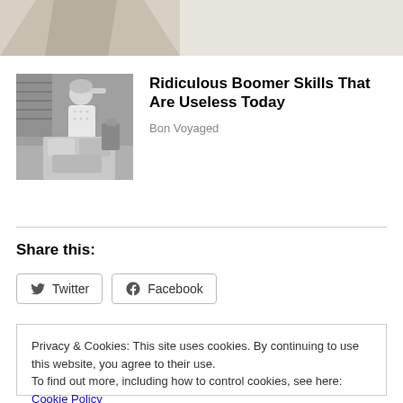[Figure (photo): Partial cropped image at top of page, showing a small portion of an image (beige/tan tones)]
[Figure (photo): Black and white vintage photo of a woman in an apron appearing overwhelmed in a kitchen]
Ridiculous Boomer Skills That Are Useless Today
Bon Voyaged
Share this:
Twitter
Facebook
Privacy & Cookies: This site uses cookies. By continuing to use this website, you agree to their use.
To find out more, including how to control cookies, see here: Cookie Policy
Close and accept